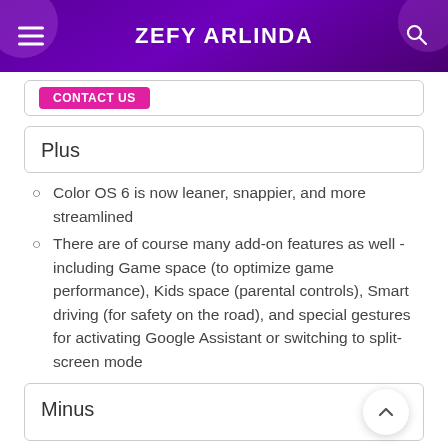ZEFY ARLINDA
Plus
Color OS 6 is now leaner, snappier, and more streamlined
There are of course many add-on features as well - including Game space (to optimize game performance), Kids space (parental controls), Smart driving (for safety on the road), and special gestures for activating Google Assistant or switching to split-screen mode
Minus
Though it packs lesser bloatware than before, it's still not so...